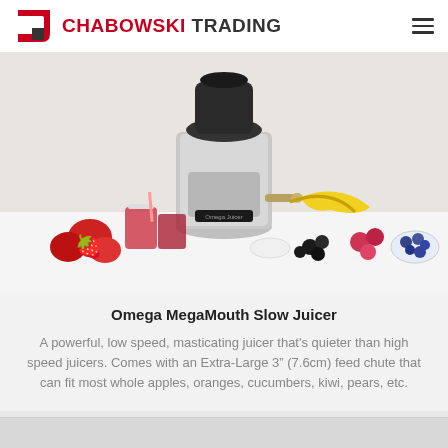CHABOWSKI TRADING
[Figure (photo): Omega MegaMouth Slow Juicer product photo showing the silver and black juicer machine surrounded by fruits including strawberries, bananas, raspberries, blueberries, and glasses of red juice on a white background.]
Omega MegaMouth Slow Juicer
A powerful, low speed, masticating juicer that’s quieter than high speed juicers. Comes with an Extra-Large 3” (7.6cm) feed chute that can fit most whole apples, oranges, cucumbers, kiwi, pears, etc.